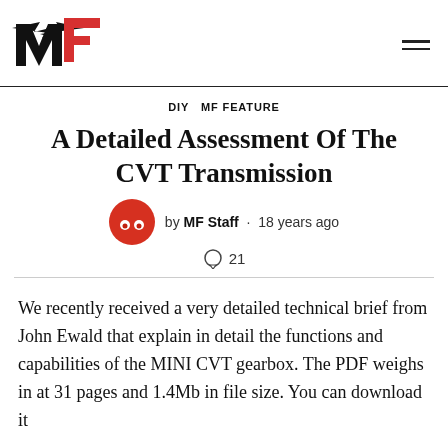MF (MotorFans) logo and navigation
DIY  MF FEATURE
A Detailed Assessment Of The CVT Transmission
by MF Staff · 18 years ago
21
We recently received a very detailed technical brief from John Ewald that explain in detail the functions and capabilities of the MINI CVT gearbox. The PDF weighs in at 31 pages and 1.4Mb in file size. You can download it